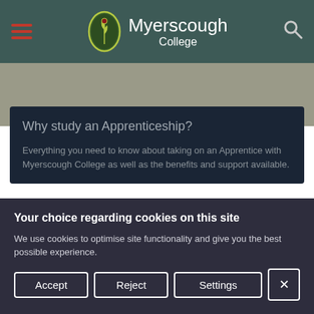[Figure (logo): Myerscough College logo with oval green badge and college name in white text on dark teal header]
[Figure (illustration): Grey banner area below header, partially visible background image]
Why study an Apprenticeship?
Everything you need to know about taking on an Apprentice with Myerscough College as well as the benefits and support available.
Your choice regarding cookies on this site
We use cookies to optimise site functionality and give you the best possible experience.